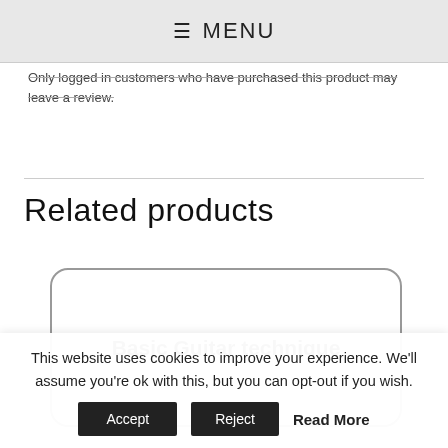≡ MENU
Only logged in customers who have purchased this product may leave a review.
Related products
[Figure (screenshot): Product card with rounded rectangle border containing the text 'Basic Guitar technique']
This website uses cookies to improve your experience. We'll assume you're ok with this, but you can opt-out if you wish. Accept  Reject  Read More